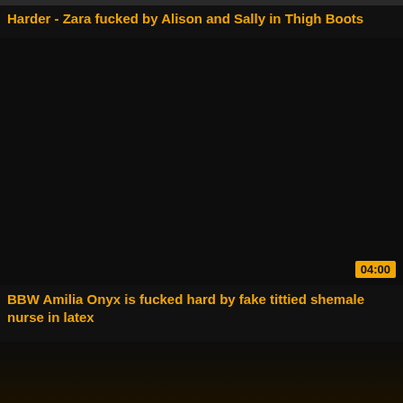Harder - Zara fucked by Alison and Sally in Thigh Boots
[Figure (screenshot): Dark video thumbnail area, nearly black]
BBW Amilia Onyx is fucked hard by fake tittied shemale nurse in latex
[Figure (screenshot): Dark video thumbnail area with warm amber/orange tones at bottom]